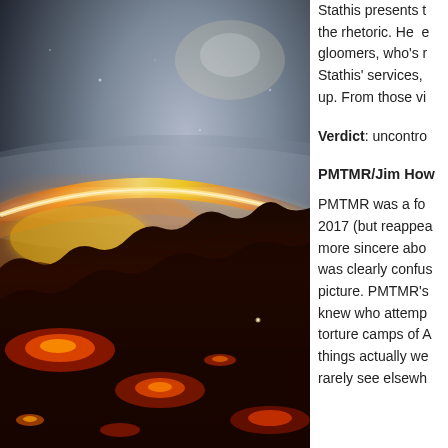[Figure (illustration): A dramatic sci-fi illustration showing a volcanic or lava-covered alien planetary surface viewed at an angle from low orbit, with a bright glowing horizon line where orange-red lava meets dark rocky terrain, set against a dark grey/blue atmospheric sky.]
Stathis presents the rhetoric. He e gloomers, who's r Stathis' services, up. From those vi
Verdict: uncontro
PMTMR/Jim How
PMTMR was a fo 2017 (but reappea more sincere abo was clearly confus picture. PMTMR's knew who attemp torture camps of A things actually we rarely see elsewh